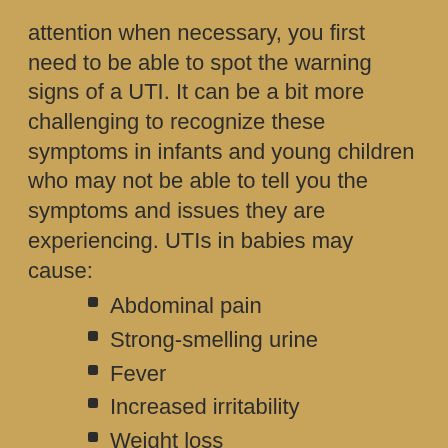attention when necessary, you first need to be able to spot the warning signs of a UTI. It can be a bit more challenging to recognize these symptoms in infants and young children who may not be able to tell you the symptoms and issues they are experiencing. UTIs in babies may cause:
Abdominal pain
Strong-smelling urine
Fever
Increased irritability
Weight loss
Decreased appetite (fewer feedings)
Exhaustion
Vomiting and diarrhea
Older children may exhibit these symptoms,